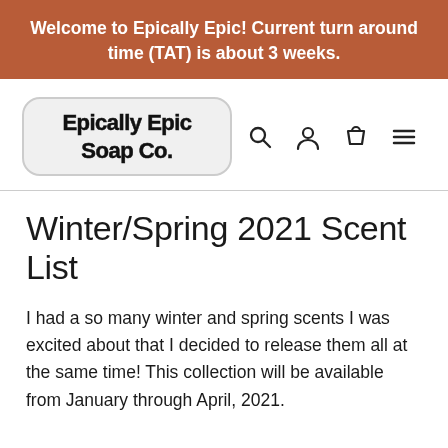Welcome to Epically Epic! Current turn around time (TAT) is about 3 weeks.
[Figure (logo): Epically Epic Soap Co. logo in a rounded rectangle with light gray background]
Winter/Spring 2021 Scent List
I had a so many winter and spring scents I was excited about that I decided to release them all at the same time! This collection will be available from January through April, 2021.